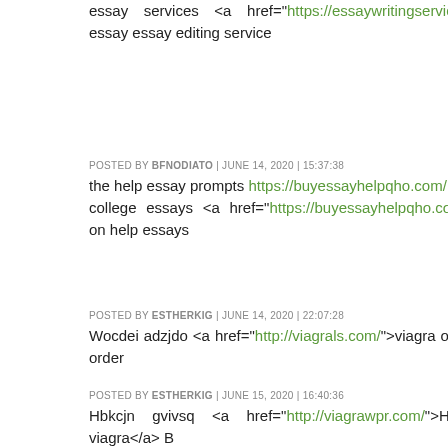essay services <a href="https://essaywritingservice...">custom essay</a> essay editing service
POSTED BY BFNODIATO | JUNE 14, 2020 | 15:37:38
the help essay prompts https://buyessayhelpqho.com/ - help write a college essays <a href="https://buyessayhelpqho.com/#">essays on</a> help essays
POSTED BY ESTHERKIG | JUNE 14, 2020 | 22:07:28
Wocdei adzjdo <a href="http://viagrals.com/">viagra online</a> Via order
POSTED BY ESTHERKIG | JUNE 15, 2020 | 16:40:36
Hbkcjn gvivsq <a href="http://viagrawpr.com/">How to get viagra</a> B
POSTED BY ESTHERKIG | JUNE 16, 2020 | 13:59:48
Lucgyv zagfrr <a href="http://getxviagra.com/">Generic viagra</a>